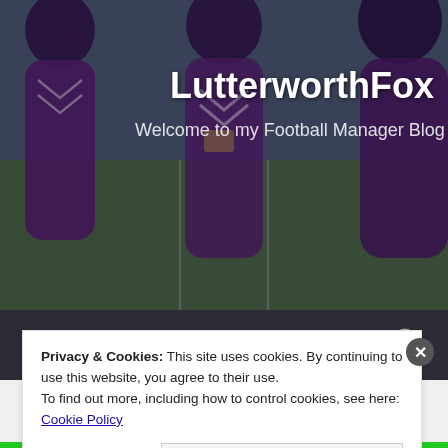[Figure (photo): Background photo of football players in purple/maroon jerseys on a football pitch, with stadium blur in background. Overlaid with site branding.]
LutterworthFox
Welcome to my Football Manager Blog
☰ MENU
TAG: FMBLOG
Privacy & Cookies: This site uses cookies. By continuing to use this website, you agree to their use.
To find out more, including how to control cookies, see here: Cookie Policy
Close and accept